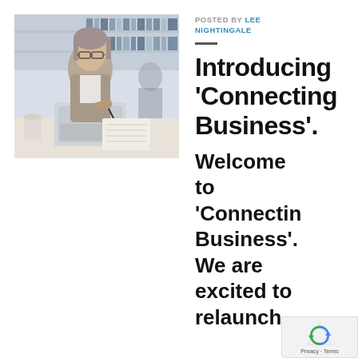[Figure (photo): Woman in blazer sitting at a desk working on a laptop, writing notes, in a library/office setting]
POSTED BY LEE NIGHTINGALE
Introducing 'Connecting Business'.
Welcome to 'Connecting Business'. We are excited to relaunch